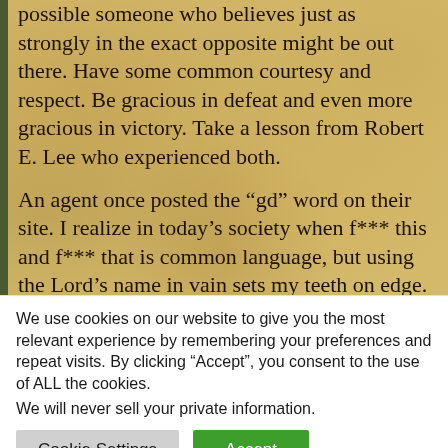possible someone who believes just as strongly in the exact opposite might be out there. Have some common courtesy and respect. Be gracious in defeat and even more gracious in victory. Take a lesson from Robert E. Lee who experienced both.
An agent once posted the “gd” word on their site. I realize in today’s society when f*** this and f*** that is common language, but using the Lord’s name in vain sets my teeth on edge. I would probably also avoid the agent who used the f bomb on their site, though I can live with it appearing on their blog occasionally. The
We use cookies on our website to give you the most relevant experience by remembering your preferences and repeat visits. By clicking “Accept”, you consent to the use of ALL the cookies.
We will never sell your private information.